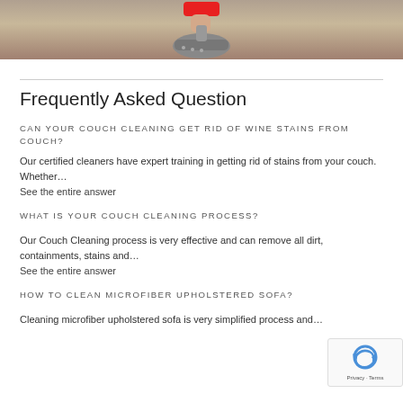[Figure (photo): Photo showing a hand holding a clothes iron on a carpet, with a white cloth underneath. A red badge/button is visible near the top center of the image.]
Frequently Asked Question
CAN YOUR COUCH CLEANING GET RID OF WINE STAINS FROM COUCH?
Our certified cleaners have expert training in getting rid of stains from your couch. Whether…
See the entire answer
WHAT IS YOUR COUCH CLEANING PROCESS?
Our Couch Cleaning process is very effective and can remove all dirt, containments, stains and…
See the entire answer
HOW TO CLEAN MICROFIBER UPHOLSTERED SOFA?
Cleaning microfiber upholstered sofa is very simplified process and…